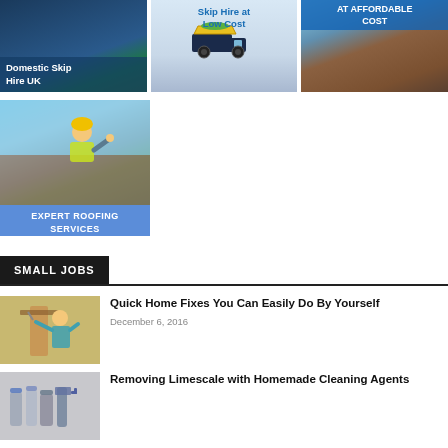[Figure (photo): Green skip bin with debris - Domestic Skip Hire UK]
[Figure (illustration): Truck carrying yellow skip bin - Skip Hire at Low Cost advertisement]
[Figure (photo): Roof tiles close-up - AT AFFORDABLE COST]
[Figure (photo): Roofer in yellow hard hat and hi-vis jacket giving thumbs up - EXPERT ROOFING SERVICES]
SMALL JOBS
[Figure (photo): Person fixing a door frame with a drill]
Quick Home Fixes You Can Easily Do By Yourself
December 6, 2016
[Figure (photo): Cleaning supplies and spray bottles on white surface]
Removing Limescale with Homemade Cleaning Agents